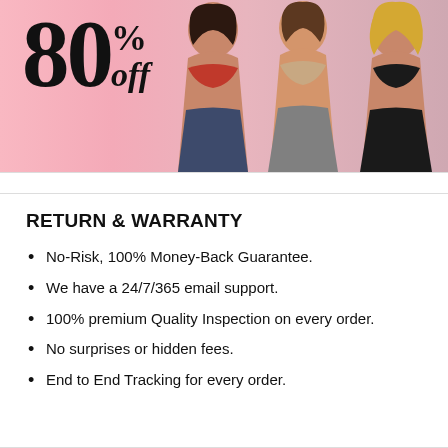[Figure (photo): Promotional banner with pink gradient background showing '80% off' text in large serif font and three women wearing bras (red, beige, black) on the right side]
RETURN & WARRANTY
No-Risk, 100% Money-Back Guarantee.
We have a 24/7/365 email support.
100% premium Quality Inspection on every order.
No surprises or hidden fees.
End to End Tracking for every order.